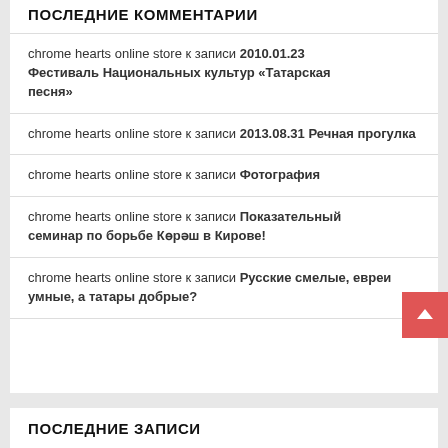ПОСЛЕДНИЕ КОММЕНТАРИИ
chrome hearts online store к записи 2010.01.23 Фестиваль Национальных культур «Татарская песня»
chrome hearts online store к записи 2013.08.31 Речная прогулка
chrome hearts online store к записи Фотография
chrome hearts online store к записи Показательный семинар по борьбе Көрәш в Кирове!
chrome hearts online store к записи Русские смелые, евреи умные, а татары добрые?
ПОСЛЕДНИЕ ЗАПИСИ